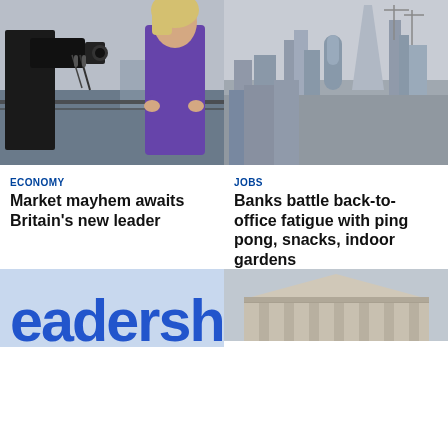[Figure (photo): Woman being interviewed by TV camera crew outdoors near waterfront, woman in purple jacket]
[Figure (photo): Aerial view of London City skyline with skyscrapers including The Gherkin and The Shard under cloudy sky]
ECONOMY
Market mayhem awaits Britain's new leader
JOBS
Banks battle back-to-office fatigue with ping pong, snacks, indoor gardens
[Figure (photo): Partial close-up of blue text reading 'eadersh' (Leadership) on light blue background]
[Figure (photo): Partial view of classical stone building facade with columns and triangular pediment under grey sky]